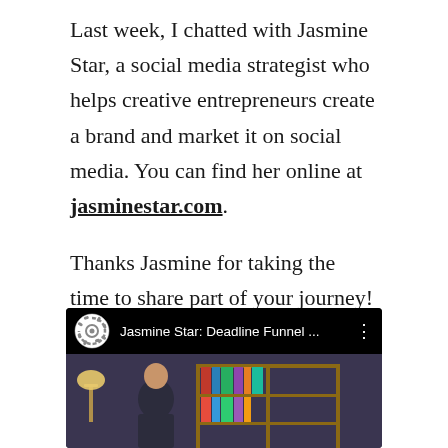Last week, I chatted with Jasmine Star, a social media strategist who helps creative entrepreneurs create a brand and market it on social media. You can find her online at jasminestar.com.
Thanks Jasmine for taking the time to share part of your journey!
Watch the full video interview here or read the full transcript below:
[Figure (screenshot): YouTube video thumbnail showing 'Jasmine Star: Deadline Funnel ...' with a circular gear/logo icon on the left, video title text, and a three-dot menu icon. Below is a preview image of a room scene with a lamp and shelving.]